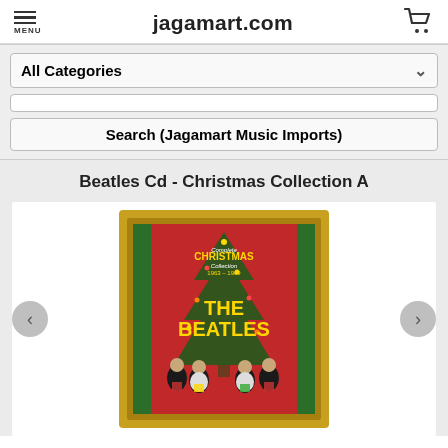jagamart.com
All Categories
Search (Jagamart Music Imports)
Beatles Cd - Christmas Collection A
[Figure (photo): Beatles Christmas Collection CD cover in a gold frame. Red background with a Christmas tree, text 'Complete CHRISTMAS Collection 1963-1969 THE BEATLES' in gold letters, four Beatles members standing below holding Christmas gifts.]